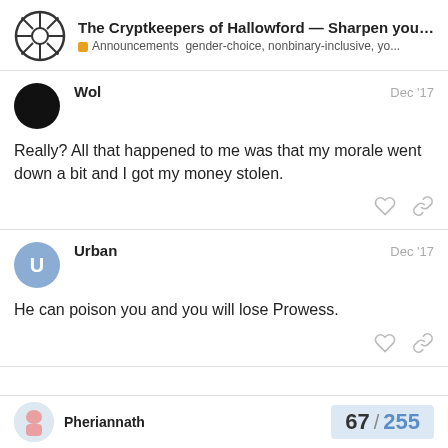The Cryptkeepers of Hallowford — Sharpen your... | Announcements  gender-choice, nonbinary-inclusive, yo...
Wol  Dec '17
Really? All that happened to me was that my morale went down a bit and I got my money stolen.
Urban  Dec '17
He can poison you and you will lose Prowess.
Pheriannath  67 / 255